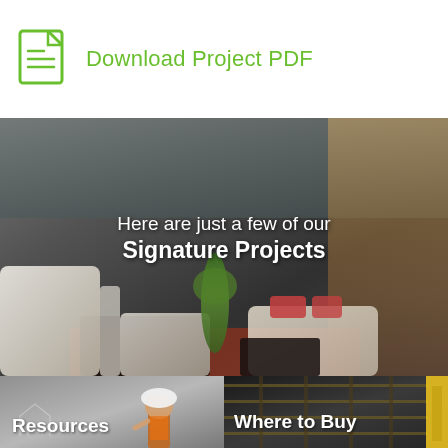Download Project PDF
[Figure (photo): Hotel lobby interior with white armchairs, dark tables, a plant centerpiece, and sofas with red pillows on a red rug. Overlaid with text: Here are just a few of our Signature Projects]
Here are just a few of our Signature Projects
[Figure (photo): Construction worker in white hard hat and orange vest looking down, with house outline sketch in background. Panel labeled Resources.]
[Figure (photo): Warehouse interior with tall shelving racks and a yellow forklift. Panel labeled Where to Buy.]